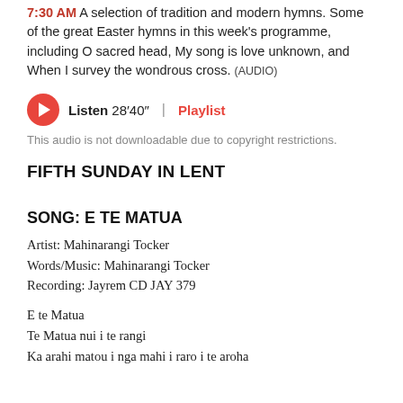7:30 AM A selection of tradition and modern hymns. Some of the great Easter hymns in this week's programme, including O sacred head, My song is love unknown, and When I survey the wondrous cross. (AUDIO)
[Figure (other): Audio player UI showing play button, Listen 28'40" duration, and Playlist link]
This audio is not downloadable due to copyright restrictions.
FIFTH SUNDAY IN LENT
SONG: E TE MATUA
Artist: Mahinarangi Tocker
Words/Music: Mahinarangi Tocker
Recording: Jayrem CD JAY 379
E te Matua
Te Matua nui i te rangi
Ka arahi matou i nga mahi i raro i te aroha